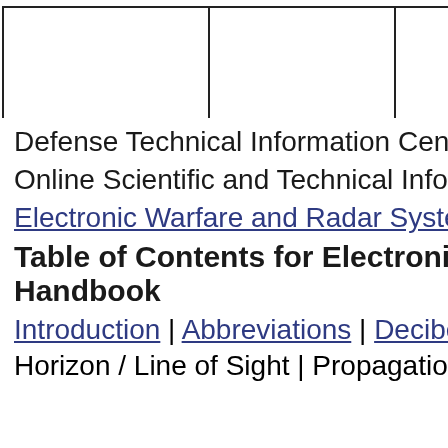[Figure (table-as-image): Three-column empty table header row with borders]
Defense Technical Information Center
Online Scientific and Technical Information
Electronic Warfare and Radar Systems
Table of Contents for Electronics Warfare Handbook
Introduction | Abbreviations | Decibel
Horizon / Line of Sight | Propagation